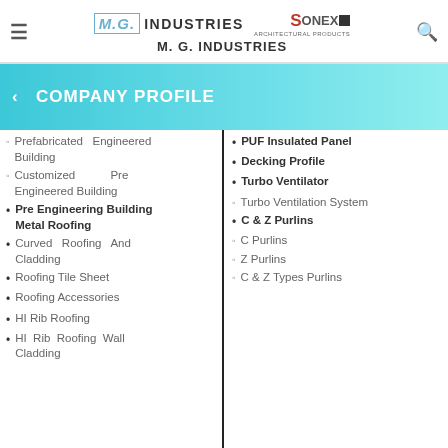M.G. INDUSTRIES / M. G. INDUSTRIES
COMPANY PROFILE
Prefabricated Engineered Building
Customized Pre Engineered Building
Pre Engineering Building Metal Roofing
Curved Roofing And Cladding
Roofing Tile Sheet
Roofing Accessories
HI Rib Roofing
HI Rib Roofing Wall Cladding
PUF Insulated Panel
Decking Profile
Turbo Ventilator
Turbo Ventilation System
C & Z Purlins
C Purlins
Z Purlins
C & Z Types Purlins